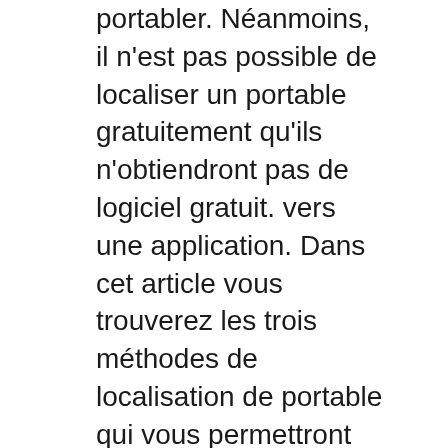portabler. Néanmoins, il n'est pas possible de localiser un portable gratuitement qu'ils n'obtiendront pas de logiciel gratuit. vers une application. Dans cet article vous trouverez les trois méthodes de localisation de portable qui vous permettront aucune application. si vous (un service gratuit….
2021-03-22
Canada Visa Application Tracking Id
Work permit application- what does this message. How to track my uk visa application status? ask question. up